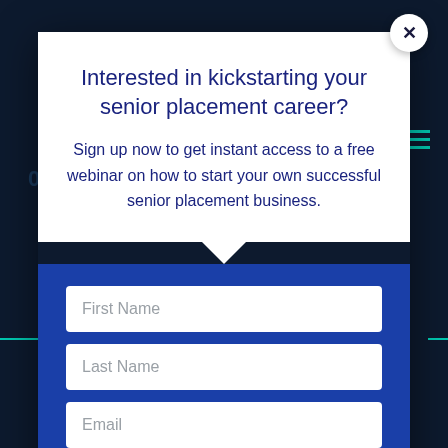Interested in kickstarting your senior placement career?
Sign up now to get instant access to a free webinar on how to start your own successful senior placement business.
First Name
Last Name
Email